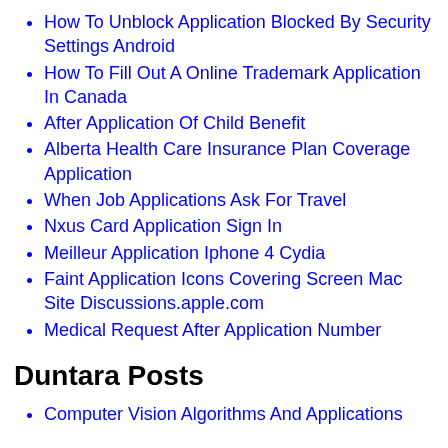How To Unblock Application Blocked By Security Settings Android
How To Fill Out A Online Trademark Application In Canada
After Application Of Child Benefit
Alberta Health Care Insurance Plan Coverage Application
When Job Applications Ask For Travel
Nxus Card Application Sign In
Meilleur Application Iphone 4 Cydia
Faint Application Icons Covering Screen Mac Site Discussions.apple.com
Medical Request After Application Number
Duntara Posts
Computer Vision Algorithms And Applications